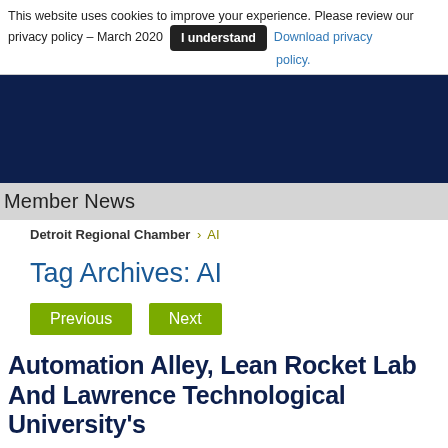This website uses cookies to improve your experience. Please review our privacy policy – March 2020  [I understand]  Download privacy policy.
[Figure (other): Dark navy blue navigation header band]
Member News
Detroit Regional Chamber > AI
Tag Archives: AI
Previous  Next
Automation Alley, Lean Rocket Lab And Lawrence Technological University's